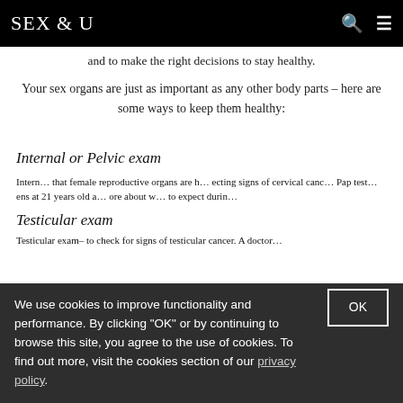SEX & U
and to make the right decisions to stay healthy.
Your sex organs are just as important as any other body parts – here are some ways to keep them healthy:
Internal or Pelvic exam
Internal … that female reproductive organs are h… ecting signs of cervical canc… Pap test… ens at 21 years old a… ore about w… to expect durin…
Testicular exam
Testicular exam– to check for signs of testicular cancer. A doctor…
We use cookies to improve functionality and performance. By clicking "OK" or by continuing to browse this site, you agree to the use of cookies. To find out more, visit the cookies section of our privacy policy.